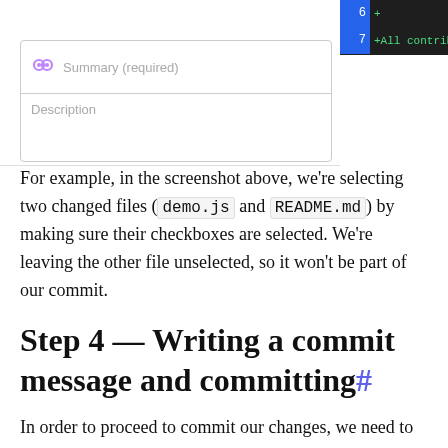[Figure (screenshot): GitHub commit form screenshot showing a Summary (required) field and Description field, with a diff panel on the right showing green additions and blue line numbers]
For example, in the screenshot above, we're selecting two changed files (demo.js and README.md) by making sure their checkboxes are selected. We're leaving the other file unselected, so it won't be part of our commit.
Step 4 — Writing a commit message and committing#
In order to proceed to commit our changes, we need to provide a commit message. For a commit, the commit